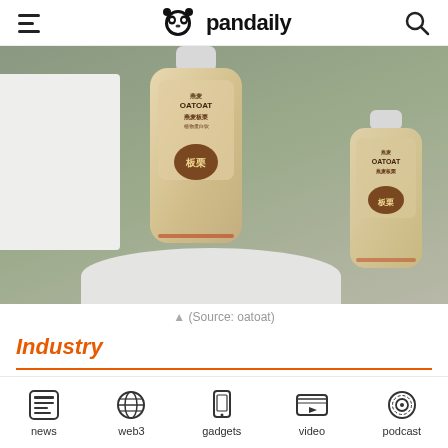pandaily
[Figure (photo): Product photo of two oatoat branded beverage bottles on a white pedestal with a sage green background. The bottles have a cream/tan color with illustrated character labels. The larger bottle is in front center and a smaller one is partially visible to the right.]
▲ (Source: oatoat)
Industry
news | web3 | gadgets | video | podcast